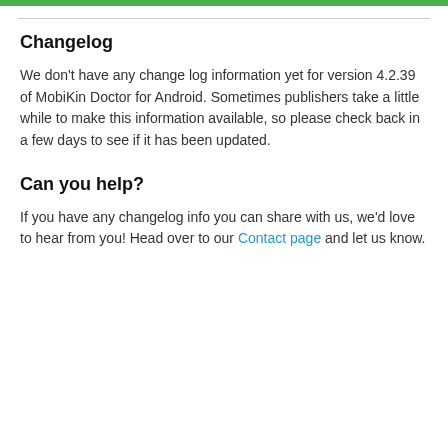Changelog
We don't have any change log information yet for version 4.2.39 of MobiKin Doctor for Android. Sometimes publishers take a little while to make this information available, so please check back in a few days to see if it has been updated.
Can you help?
If you have any changelog info you can share with us, we'd love to hear from you! Head over to our Contact page and let us know.